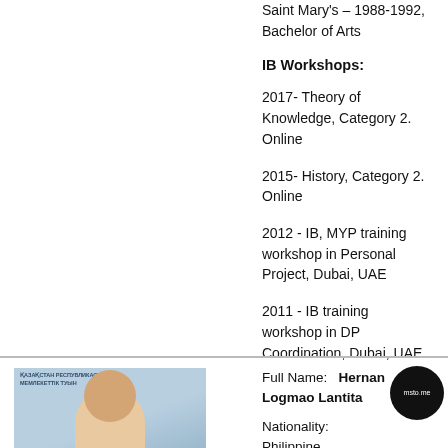Saint Mary's – 1988-1992, Bachelor of Arts
IB Workshops:
2017- Theory of Knowledge, Category 2. Online
2015- History, Category 2. Online
2012 - IB, MYP training workshop in Personal Project, Dubai, UAE
2011 - IB training workshop in DP Coordination, Dubai, UAE
[Figure (photo): Headshot photo of Hernan Logmao Lantita against a light blue background with Kazakh text]
Full Name:   Hernan Logmao Lantita
Nationality:  Philippine